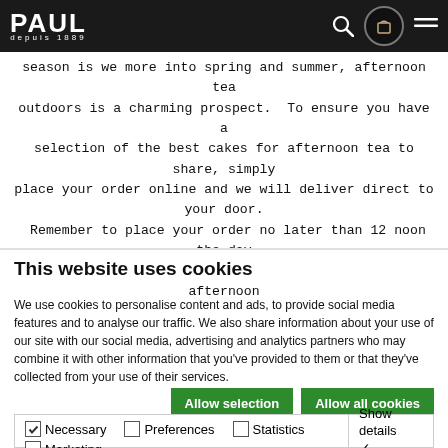PAUL depuis 1889
season is we more into spring and summer, afternoon tea outdoors is a charming prospect. To ensure you have a selection of the best cakes for afternoon tea to share, simply place your order online and we will deliver direct to your door. Remember to place your order no later than 12 noon the day before you want your cakes to be delivered. If your afternoon tea party is also a special celebration, remember that some of our cakes can include your personal message. We deliver to all London postcodes and selected postcodes in Oxford. You are
This website uses cookies
We use cookies to personalise content and ads, to provide social media features and to analyse our traffic. We also share information about your use of our site with our social media, advertising and analytics partners who may combine it with other information that you've provided to them or that they've collected from your use of their services.
Allow selection   Allow all cookies
☑ Necessary  ☐ Preferences  ☐ Statistics  ☐ Marketing   Show details ∨